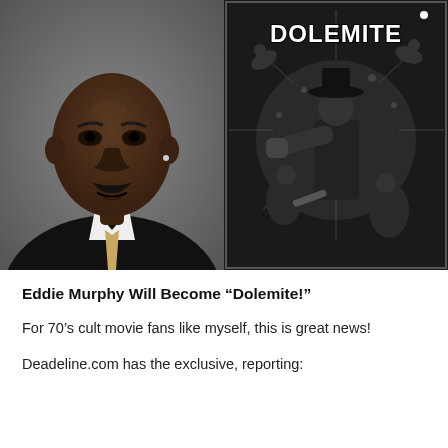[Figure (photo): Left: headshot photo of Eddie Murphy in a dark suit with a light tie, gray background. Right: black-and-white movie poster for 'Dolemite' featuring a figure in a hat punching forward with women and explosive action imagery, large 'DOLEMITE' text at top.]
Eddie Murphy Will Become “Dolemite!”
For 70’s cult movie fans like myself, this is great news!
Deadeline.com has the exclusive, reporting: